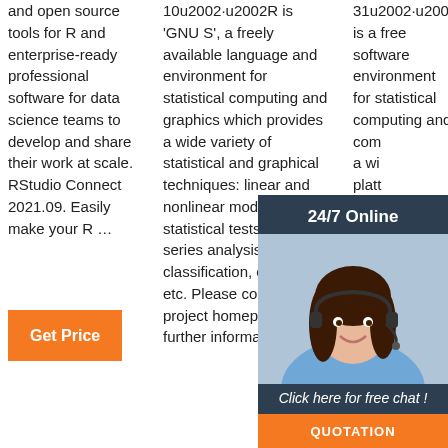and open source tools for R and enterprise-ready professional software for data science teams to develop and share their work at scale. RStudio Connect 2021.09. Easily make your R …
10u2002·u2002R is 'GNU S', a freely available language and environment for statistical computing and graphics which provides a wide variety of statistical and graphical techniques: linear and nonlinear modelling, statistical tests, time series analysis, classification, clustering, etc. Please consult the R project homepage for further information.
31u2002·u2002R is a free software environment for statistical computing and com a wi plat and dow cho CRA
[Figure (photo): Customer support agent with headset, chat overlay box with '24/7 Online' header, 'Click here for free chat!' message, and orange QUOTATION button]
Get Price
Get Price
TOP